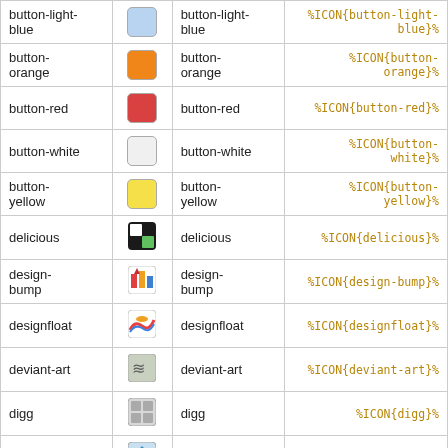| Name | Icon | Label | Syntax |
| --- | --- | --- | --- |
| button-light-blue | [icon] | button-light-blue | %ICON{button-light-blue}% |
| button-orange | [icon] | button-orange | %ICON{button-orange}% |
| button-red | [icon] | button-red | %ICON{button-red}% |
| button-white | [icon] | button-white | %ICON{button-white}% |
| button-yellow | [icon] | button-yellow | %ICON{button-yellow}% |
| delicious | [icon] | delicious | %ICON{delicious}% |
| design-bump | [icon] | design-bump | %ICON{design-bump}% |
| designfloat | [icon] | designfloat | %ICON{designfloat}% |
| deviant-art | [icon] | deviant-art | %ICON{deviant-art}% |
| digg | [icon] | digg | %ICON{digg}% |
| drupal | [icon] | drupal | %ICON{drupal}% |